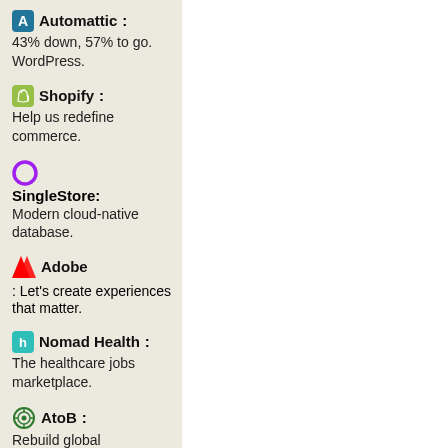Automattic: 43% down, 57% to go. WordPress.
Shopify: Help us redefine commerce.
SingleStore: Modern cloud-native database.
Adobe: Let's create experiences that matter.
Nomad Health: The healthcare jobs marketplace.
AtoB: Rebuild global transportation payments.
Chain: Powering innovative